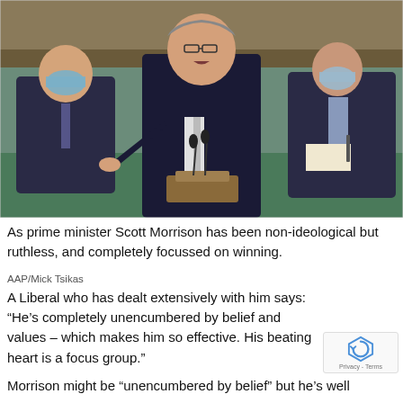[Figure (photo): Scott Morrison as prime minister speaking at a podium in parliament, pointing finger, flanked by two colleagues in blue masks on green benches]
As prime minister Scott Morrison has been non-ideological but ruthless, and completely focussed on winning.
AAP/Mick Tsikas
A Liberal who has dealt extensively with him says: “He’s completely unencumbered by belief and values – which makes him so effective. His beating heart is a focus group.”
Morrison might be “unencumbered by belief” but he’s well